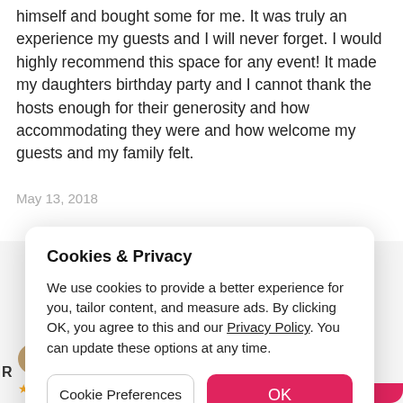himself and bought some for me. It was truly an experience my guests and I will never forget. I would highly recommend this space for any event! It made my daughters birthday party and I cannot thank the hosts enough for their generosity and how accommodating they were and how welcome my guests and my family felt.
May 13, 2018
Cookies & Privacy
We use cookies to provide a better experience for you, tailor content, and measure ads. By clicking OK, you agree to this and our Privacy Policy. You can update these options at any time.
Cookie Preferences
OK